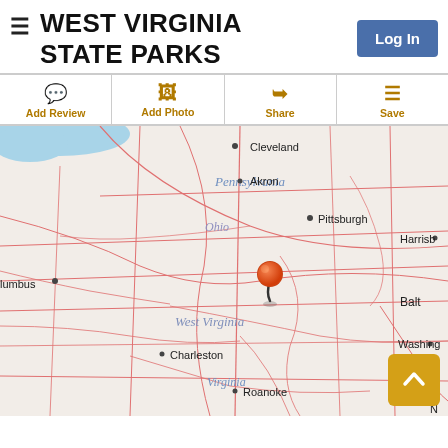WEST VIRGINIA STATE PARKS
Log In
Add Review
Add Photo
Share
Save
[Figure (map): Interactive map showing the northeastern United States and West Virginia with a location pin placed in northern West Virginia. Cities visible include Cleveland, Akron, Pittsburgh, Columbus, Charleston, Roanoke, Harrisburg, Baltimore, Washington, and state labels for Ohio, Pennsylvania, West Virginia, and Virginia.]